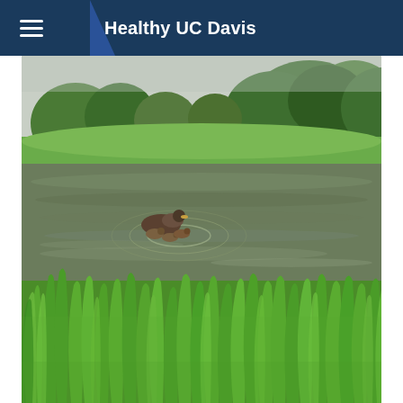Healthy UC Davis
[Figure (photo): A pond or lake scene at UC Davis campus. In the foreground, tall green grass blades are blurred/defocused. In the middle of the pond, a duck with several ducklings is swimming, creating ripples. In the background, green trees, lawn, and campus paths are visible under an overcast sky.]